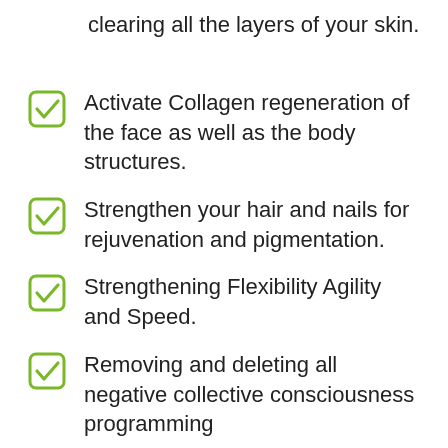clearing all the layers of your skin.
Activate Collagen regeneration of the face as well as the body structures.
Strengthen your hair and nails for rejuvenation and pigmentation.
Strengthening Flexibility Agility and Speed.
Removing and deleting all negative collective consciousness programming